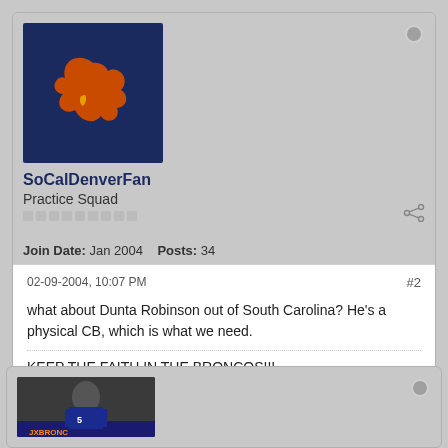[Figure (other): Denver Broncos logo avatar - dark blue background with orange Broncos horse logo]
SoCalDenverFan
Practice Squad
Join Date: Jan 2004    Posts: 34
02-09-2004, 10:07 PM
#2
what about Dunta Robinson out of South Carolina? He's a physical CB, which is what we need.
KEEP THE FAITH IN THE BRONCOS!!!
[Figure (photo): Avatar of a football player in Denver Broncos uniform with JXBRONC text at bottom]